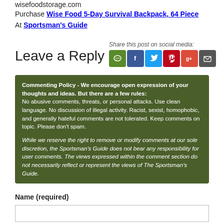wisefoodstorage.com
Purchase Wise Food 5-Day Survival Backpack, 64 Piece At Sportsman's Guide
Share this post on social media:
Leave a Reply
[Figure (infographic): Social media share icons: comment (green), Facebook (blue), Twitter (light blue), Pinterest (red), Google+ (red-orange), Email (gray)]
Commenting Policy - We encourage open expression of your thoughts and ideas. But there are a few rules:
No abusive comments, threats, or personal attacks. Use clean language. No discussion of illegal activity. Racist, sexist, homophobic, and generally hateful comments are not tolerated. Keep comments on topic. Please don't spam.

While we reserve the right to remove or modify comments at our sole discretion, the Sportsman's Guide does not bear any responsibility for user comments. The views expressed within the comment section do not necessarily reflect or represent the views of The Sportsman's Guide.
Name (required)